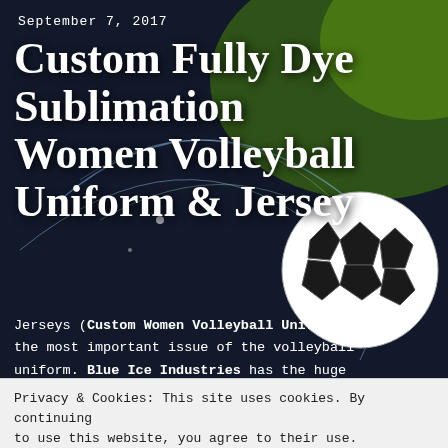September 7, 2017
Custom Fully Dye Sublimation Women Volleyball Uniform & Jersey
[Figure (photo): Soccer/football ball in black and white on a dark background with green and blue abstract light streaks]
Jerseys (Custom Women Volleyball Uniform) are the most important issue of the volleyball uniform. Blue Ice Industries has the huge
Privacy & Cookies: This site uses cookies. By continuing to use this website, you agree to their use.
To find out more, including how to control cookies, see here: Cookie Policy
sleeveless jerseys for men and women volleyball